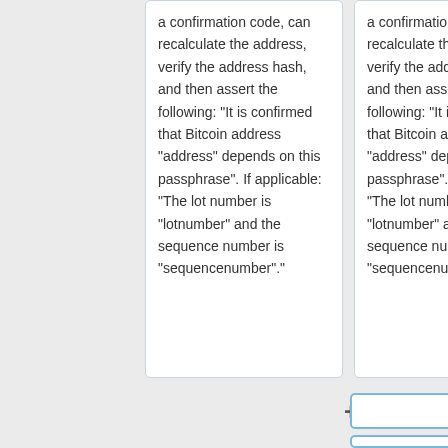a confirmation code, can recalculate the address, verify the address hash, and then assert the following: "It is confirmed that Bitcoin address "address" depends on this passphrase".  If applicable: "The lot number is "lotnumber" and the sequence number is "sequencenumber"."
a confirmation code, can recalculate the address, verify the address hash, and then assert the following: "It is confirmed that Bitcoin address "address" depends on this passphrase".  If applicable: "The lot number is "lotnumber" and the sequence number is "sequencenumber"."